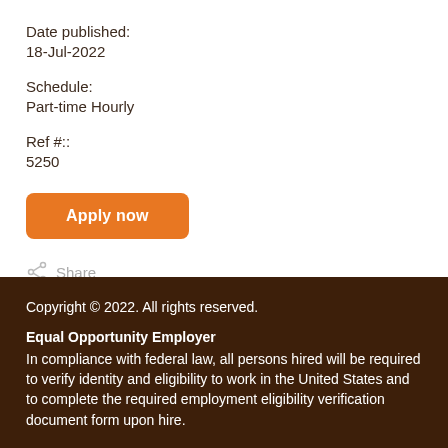Date published:
18-Jul-2022
Schedule:
Part-time Hourly
Ref #::
5250
Apply now
Share
< Back to search results
Copyright © 2022. All rights reserved.

Equal Opportunity Employer
In compliance with federal law, all persons hired will be required to verify identity and eligibility to work in the United States and to complete the required employment eligibility verification document form upon hire.